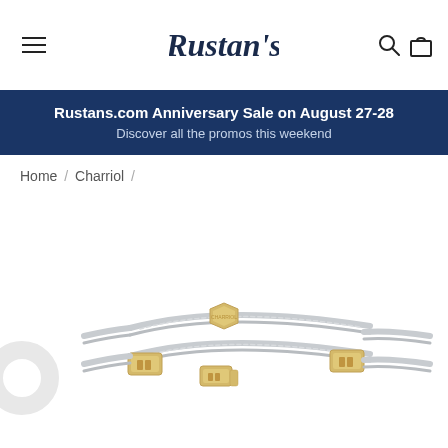Rustan's — navigation header with hamburger menu, logo, search and cart icons
Rustans.com Anniversary Sale on August 27-28
Discover all the promos this weekend
Home / Charriol /
[Figure (photo): Charriol cable bracelet with gold-tone geometric clasps and double steel cable strand, shown on white background. Partial view of another jewelry piece on the left edge.]